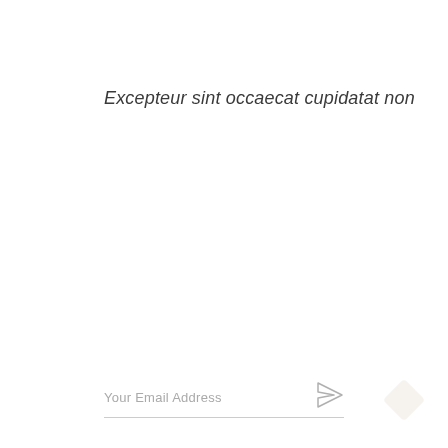Excepteur sint occaecat cupidatat non
Your Email Address